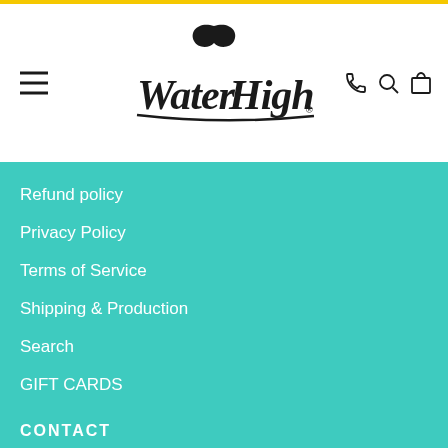[Figure (logo): WaterHigh brand logo with whale tail above stylized handwritten text 'WaterHigh' with registered trademark symbol]
Refund policy
Privacy Policy
Terms of Service
Shipping & Production
Search
GIFT CARDS
CONTACT
info@waterhigh.com
4403843422
9822 E. Washington St. Suite 9